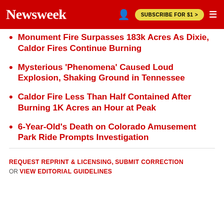Newsweek | SUBSCRIBE FOR $1 >
Monument Fire Surpasses 183k Acres As Dixie, Caldor Fires Continue Burning
Mysterious 'Phenomena' Caused Loud Explosion, Shaking Ground in Tennessee
Caldor Fire Less Than Half Contained After Burning 1K Acres an Hour at Peak
6-Year-Old's Death on Colorado Amusement Park Ride Prompts Investigation
REQUEST REPRINT & LICENSING, SUBMIT CORRECTION OR VIEW EDITORIAL GUIDELINES